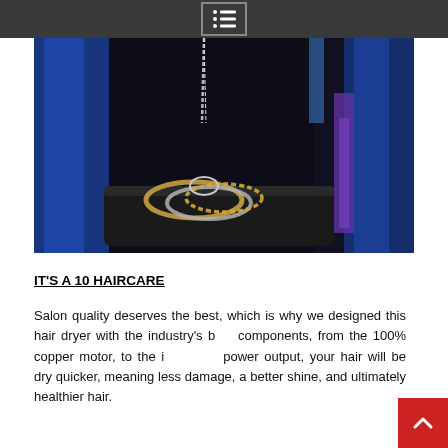Navigation menu icon
[Figure (photo): Jewelry display photo showing gold/silver bracelets and a chain necklace on a dark display platform, with blue velvet drapes in the background and purple accent lighting on the right side.]
IT'S A 10 HAIRCARE
Salon quality deserves the best, which is why we designed this hair dryer with the industry's best components, from the 100% copper motor, to the increased power output, your hair will be dry quicker, meaning less damage, a better shine, and ultimately healthier hair.